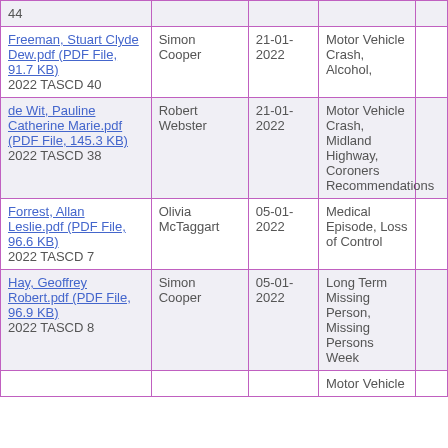| Document | Coroner | Date | Keywords |  |
| --- | --- | --- | --- | --- |
| 44 |  |  |  |  |
| Freeman, Stuart Clyde Dew.pdf (PDF File, 91.7 KB) 2022 TASCD 40 | Simon Cooper | 21-01-2022 | Motor Vehicle Crash, Alcohol, |  |
| de Wit, Pauline Catherine Marie.pdf (PDF File, 145.3 KB) 2022 TASCD 38 | Robert Webster | 21-01-2022 | Motor Vehicle Crash, Midland Highway, Coroners Recommendations |  |
| Forrest, Allan Leslie.pdf (PDF File, 96.6 KB) 2022 TASCD 7 | Olivia McTaggart | 05-01-2022 | Medical Episode, Loss of Control |  |
| Hay, Geoffrey Robert.pdf (PDF File, 96.9 KB) 2022 TASCD 8 | Simon Cooper | 05-01-2022 | Long Term Missing Person, Missing Persons Week |  |
|  |  |  | Motor Vehicle |  |